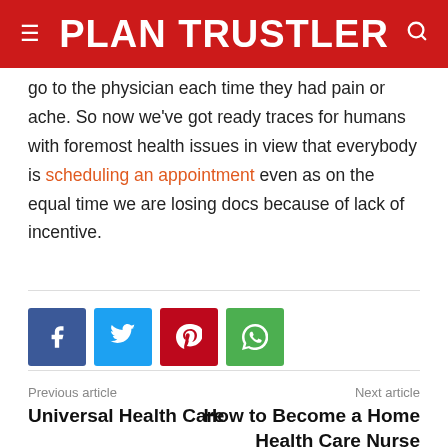PLAN TRUSTLER
go to the physician each time they had pain or ache. So now we've got ready traces for humans with foremost health issues in view that everybody is scheduling an appointment even as on the equal time we are losing docs because of lack of incentive.
[Figure (other): Social media share buttons: Facebook, Twitter, Pinterest, WhatsApp]
Previous article
Universal Health Care
Next article
How to Become a Home Health Care Nurse